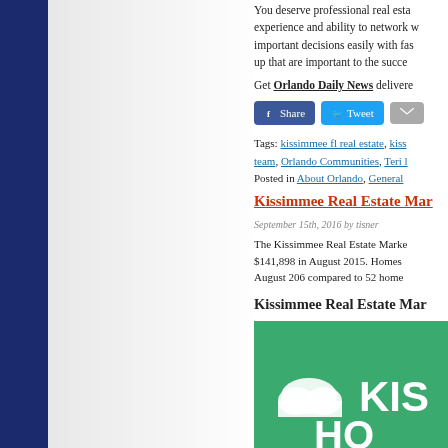You deserve professional real esta... experience and ability to network w... important decisions easily with fas... up that are important to the succe...
Get Orlando Daily News delivere...
[Figure (other): Social share buttons: Facebook Share, Twitter Tweet, Email]
Tags: kissimmee fl real estate, kiss... team, Orlando Communities, Teri l... Posted in About Orlando, General
Kissimmee Real Estate Mar...
September 15th, 2016 by tisner
The Kissimmee Real Estate Marke... $141,898 in August 2015. Homes ... August 206 compared to 52 home...
Kissimmee Real Estate Mar...
[Figure (other): Green banner image with cloud icon and text KIS... HO...]